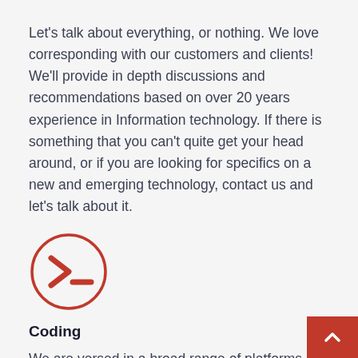Let's talk about everything, or nothing. We love corresponding with our customers and clients! We'll provide in depth discussions and recommendations based on over 20 years experience in Information technology. If there is something that you can't quite get your head around, or if you are looking for specifics on a new and emerging technology, contact us and let's talk about it.
[Figure (illustration): A red circle icon containing a command-line prompt symbol: a right-pointing chevron (>) and a dash/underscore, representing a terminal or coding interface.]
Coding
We are versed in a broad range of platforms and libraries from SharePoint and WordPress to Angular and Node JS.